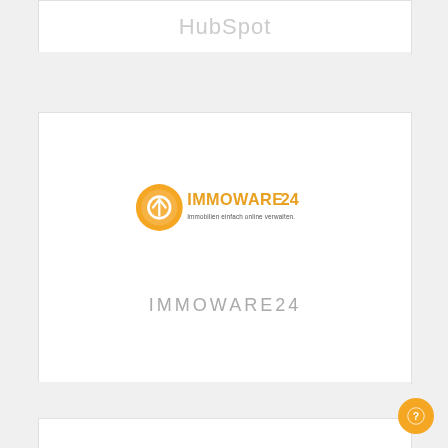[Figure (logo): HubSpot brand name partially visible at top of page in light gray]
[Figure (logo): IMMOWARE24 logo card — orange circular icon with IMMOWARE24 text and tagline 'Immobilien einfach online verwalten.' above, and IMMOWARE24 in large light gray uppercase text below]
[Figure (logo): INOPLA logo partially visible at bottom of page]